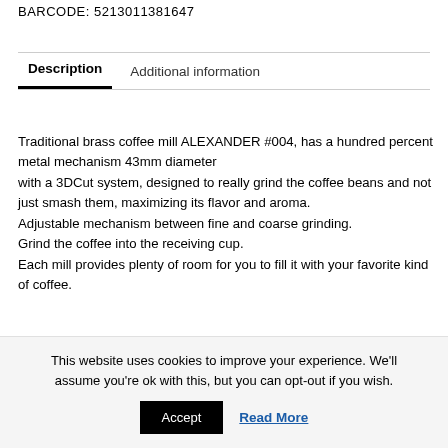BARCODE: 5213011381647
Description | Additional information
Traditional brass coffee mill ALEXANDER #004, has a hundred percent metal mechanism 43mm diameter with a 3DCut system, designed to really grind the coffee beans and not just smash them, maximizing its flavor and aroma. Adjustable mechanism between fine and coarse grinding. Grind the coffee into the receiving cup. Each mill provides plenty of room for you to fill it with your favorite kind of coffee.
This website uses cookies to improve your experience. We'll assume you're ok with this, but you can opt-out if you wish.